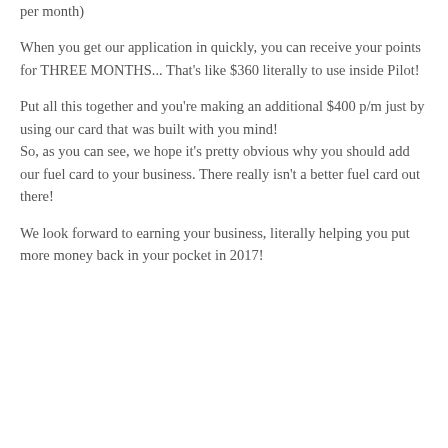per month)
When you get our application in quickly, you can receive your points for THREE MONTHS... That's like $360 literally to use inside Pilot!
Put all this together and you're making an additional $400 p/m just by using our card that was built with you mind!
So, as you can see, we hope it's pretty obvious why you should add our fuel card to your business. There really isn't a better fuel card out there!
We look forward to earning your business, literally helping you put more money back in your pocket in 2017!